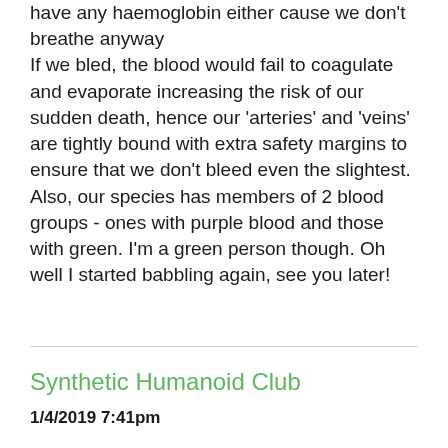have any haemoglobin either cause we don't breathe anyway
If we bled, the blood would fail to coagulate and evaporate increasing the risk of our sudden death, hence our 'arteries' and 'veins' are tightly bound with extra safety margins to ensure that we don't bleed even the slightest. Also, our species has members of 2 blood groups - ones with purple blood and those with green. I'm a green person though. Oh well I started babbling again, see you later!
Synthetic Humanoid Club
1/4/2019 7:41pm